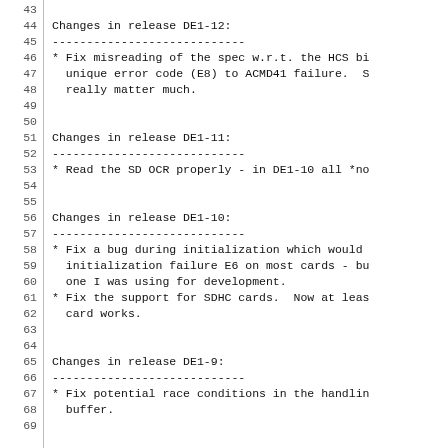43
44 Changes in release DE1-12:
45 ----------------------------
46 * Fix misreading of the spec w.r.t. the HCS bi
47   unique error code (E8) to ACMD41 failure.  S
48   really matter much.
49
50
51 Changes in release DE1-11:
52 ----------------------------
53 * Read the SD OCR properly - in DE1-10 all *no
54
55
56 Changes in release DE1-10:
57 ----------------------------
58 * Fix a bug during initialization which would
59   initialization failure E6 on most cards - bu
60   one I was using for development.
61 * Fix the support for SDHC cards.  Now at leas
62   card works.
63
64
65 Changes in release DE1-9:
66 ----------------------------
67 * Fix potential race conditions in the handlin
68   buffer.
69